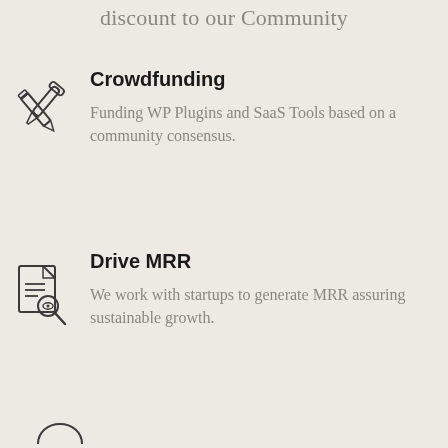discount to our Community
Crowdfunding
Funding WP Plugins and SaaS Tools based on a community consensus.
Drive MRR
We work with startups to generate MRR assuring sustainable growth.